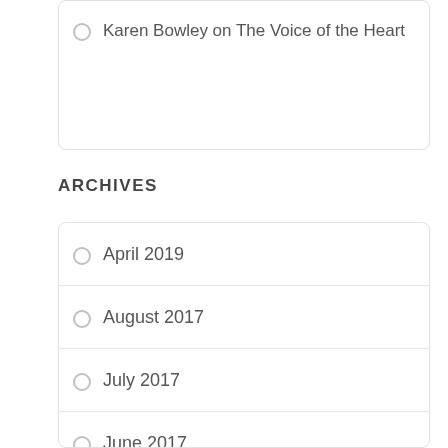Karen Bowley on The Voice of the Heart
ARCHIVES
April 2019
August 2017
July 2017
June 2017
May 2017
April 2017
March 2017